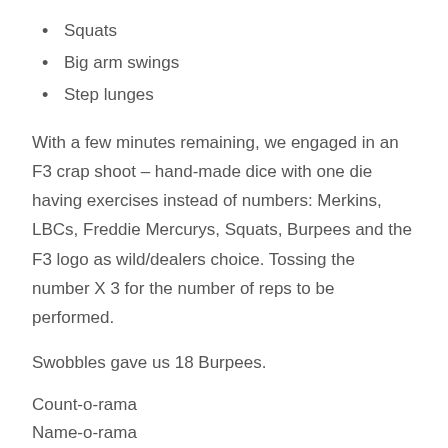Squats
Big arm swings
Step lunges
With a few minutes remaining, we engaged in an F3 crap shoot – hand-made dice with one die having exercises instead of numbers: Merkins, LBCs, Freddie Mercurys, Squats, Burpees and the F3 logo as wild/dealers choice. Tossing the number X 3 for the number of reps to be performed.
Swobbles gave us 18 Burpees.
Count-o-rama
Name-o-rama
COT